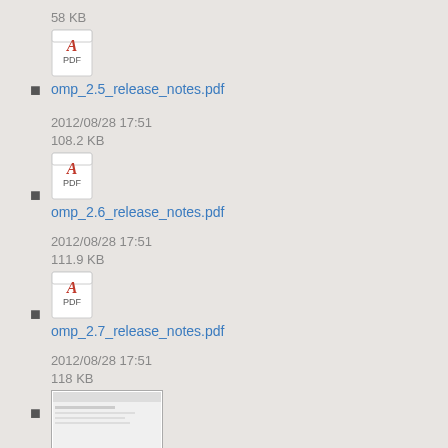58 KB
omp_2.5_release_notes.pdf
2012/08/28 17:51
108.2 KB
omp_2.6_release_notes.pdf
2012/08/28 17:51
111.9 KB
omp_2.7_release_notes.pdf
2012/08/28 17:51
118 KB